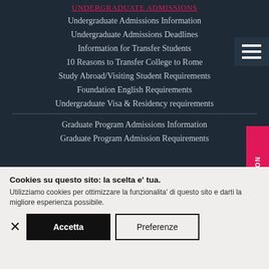UNDERGRADUATE ADMISSIONS
Undergraduate Admissions Information
Undergraduate Admissions Deadlines
Information for Transfer Students
10 Reasons to Transfer College to Rome
Study Abroad/Visiting Student Requirements
Foundation English Requirements
Undergraduate Visa & Residency requirements
Graduate Program Admissions Information
Graduate Program Admission Requirements
Cookies su questo sito: la scelta e' tua. Utilizziamo cookies per ottimizzare la funzionalita' di questo sito e darti la migliore esperienza possibile.